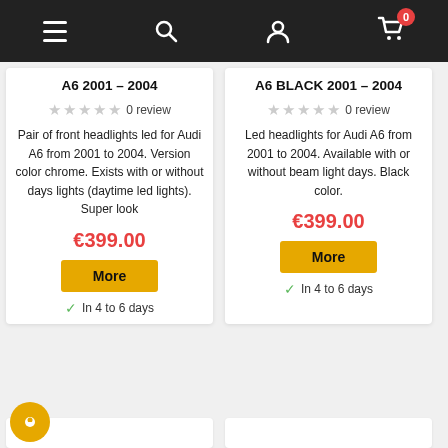Navigation bar with menu, search, account, and cart icons
A6 2001 – 2004
0 review
Pair of front headlights led for Audi A6 from 2001 to 2004. Version color chrome. Exists with or without days lights (daytime led lights). Super look
€399.00
More
In 4 to 6 days
A6 BLACK 2001 – 2004
0 review
Led headlights for Audi A6 from 2001 to 2004. Available with or without beam light days. Black color.
€399.00
More
In 4 to 6 days